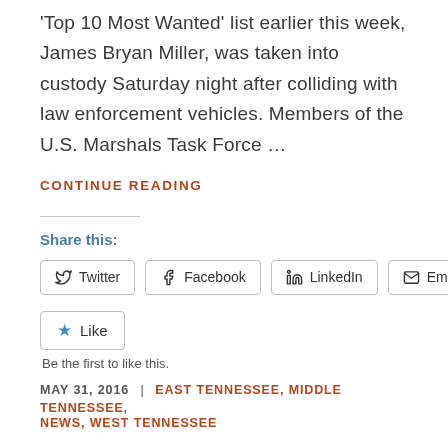'Top 10 Most Wanted' list earlier this week, James Bryan Miller, was taken into custody Saturday night after colliding with law enforcement vehicles. Members of the U.S. Marshals Task Force ...
CONTINUE READING
Share this:
[Figure (other): Social share buttons: Twitter, Facebook, LinkedIn, Email]
[Figure (other): Like button with star icon]
Be the first to like this.
MAY 31, 2016 | EAST TENNESSEE, MIDDLE TENNESSEE, NEWS, WEST TENNESSEE